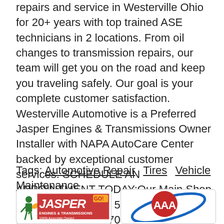repairs and service in Westerville Ohio for 20+ years with top trained ASE technicians in 2 locations. From oil changes to transmission repairs, our team will get you on the road and keep you traveling safely. Our goal is your complete customer satisfaction. Westerville Automotive is a Preferred Jasper Engines & Transmissions Owner Installer with NAPA AutoCare Center backed by exceptional customer services. SCHEDULE AN APPOINTMENT TODAY:Our Main Shop - Westerville South: 5591 Westerville Road | (614) 890-0707 | Email | Schedule OnlineOur Uptown Shop: 31 East Main Street | (614) 890-6700 | Email | Schedule Online
Tags: Automotive Repair   Tires   Vehicle Maintenance
[Figure (logo): Jasper Engines & Transmissions logo - 100% Associate Owned]
[Figure (logo): AAA logo - triple A with blue oval ring]